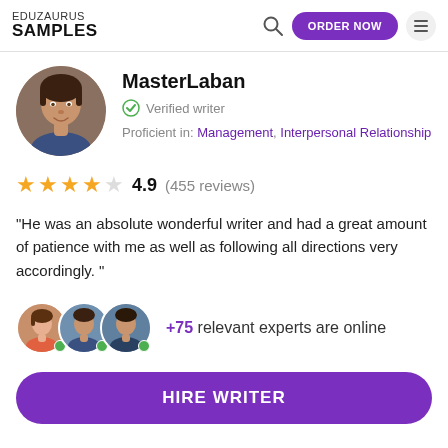EDUZAURUS SAMPLES
MasterLaban
Verified writer
Proficient in: Management, Interpersonal Relationship
4.9 (455 reviews)
"He was an absolute wonderful writer and had a great amount of patience with me as well as following all directions very accordingly."
+75 relevant experts are online